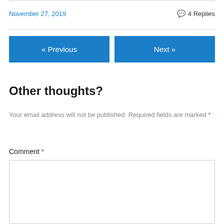November 27, 2019
💬 4 Replies
« Previous
Next »
Other thoughts?
Your email address will not be published. Required fields are marked *
Comment *